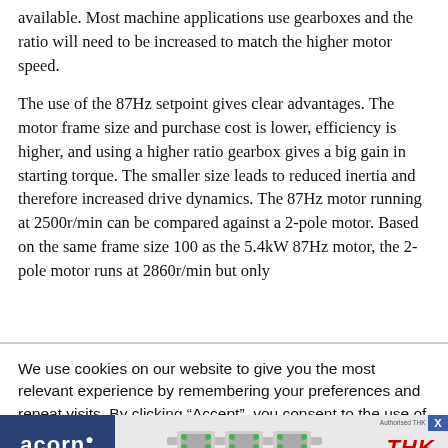available. Most machine applications use gearboxes and the ratio will need to be increased to match the higher motor speed.
The use of the 87Hz setpoint gives clear advantages. The motor frame size and purchase cost is lower, efficiency is higher, and using a higher ratio gearbox gives a big gain in starting torque. The smaller size leads to reduced inertia and therefore increased drive dynamics. The 87Hz motor running at 2500r/min can be compared against a 2-pole motor. Based on the same frame size 100 as the 5.4kW 87Hz motor, the 2-pole motor runs at 2860r/min but only
We use cookies on our website to give you the most relevant experience by remembering your preferences and repeat visits. By clicking “Accept”, you consent to the use of ALL the cookies.
[Figure (other): Advertisement banner for Acorn Industrial Services and THK linear motion products showing rail/carriage components with tagline LARGE STOCKS - TECHNICAL APPLICATION ADVICE]